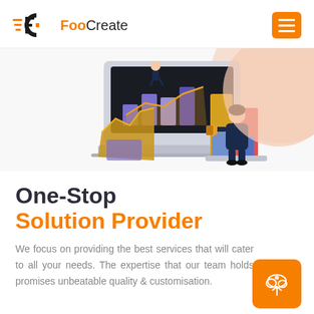FooCreate
[Figure (illustration): Isometric illustration showing a laptop with analytics charts, a businesswoman with a megaphone, and a bar chart, on a light background with a peach/salmon circular accent in the top right.]
One-Stop
Solution Provider
We focus on providing the best services that will cater to all your needs. The expertise that our team holds promises unbeatable quality & customisation.
[Figure (logo): Orange rounded square button with a white cloud/upload icon]